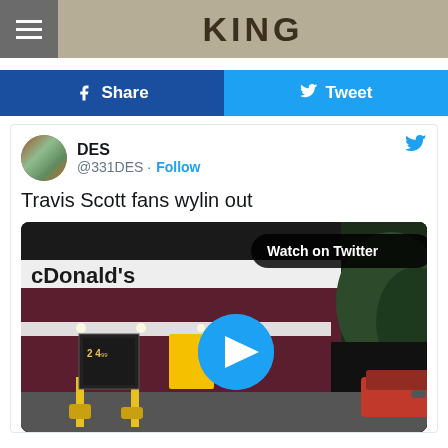KING
Share
Tweet
DES @331DES · Follow
Travis Scott fans wylin out
[Figure (screenshot): McDonald's restaurant exterior at night with a video play button overlay and 'Watch on Twitter' badge]